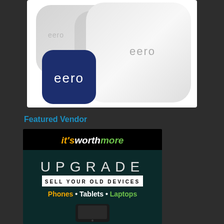[Figure (photo): Eero mesh WiFi router devices (three white rounded-square hardware units) with the eero app icon (dark blue rounded square with 'eero' text) in the foreground, on a white background]
Featured Vendor
[Figure (illustration): It's Worth More vendor advertisement banner with 'itsworthmore' logo in orange, white, and green italic text on black background, with 'UPGRADE', 'SELL YOUR OLD DEVICES', 'Phones • Tablets • Laptops' text on dark green background, and a phone silhouette at the bottom]